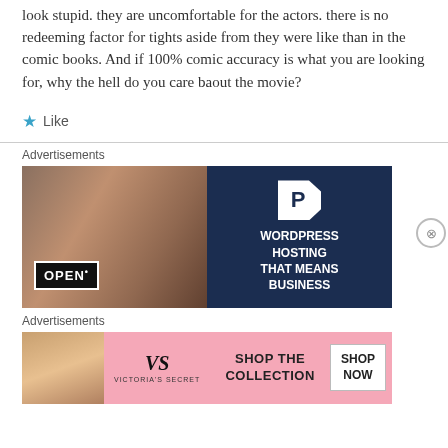look stupid. they are uncomfortable for the actors. there is no redeeming factor for tights aside from they were like than in the comic books. And if 100% comic accuracy is what you are looking for, why the hell do you care baout the movie?
★ Like
Advertisements
[Figure (photo): WordPress Hosting advertisement: left side shows a woman holding an OPEN sign in front of a shop, right side is dark navy blue with a P logo and text 'WORDPRESS HOSTING THAT MEANS BUSINESS']
Advertisements
[Figure (photo): Victoria's Secret advertisement: pink background with a woman's photo on the left, VS logo in the center, and 'SHOP THE COLLECTION' text with a 'SHOP NOW' button on the right]